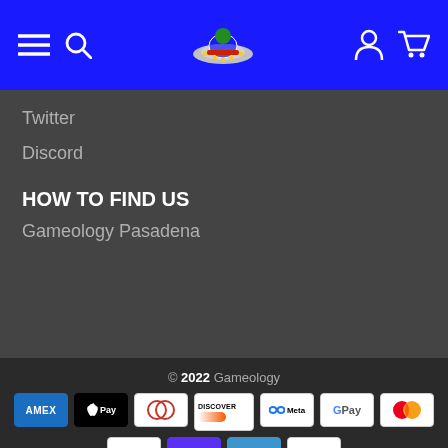Navigation bar with menu, search, logo, account, and cart icons
Twitter
Discord
HOW TO FIND US
Gameology Pasadena
© 2022 Gameology — Payment icons: AMEX, Apple Pay, Diners, Discover, Meta, G Pay, Mastercard, PayPal, Shop Pay, Venmo, Visa